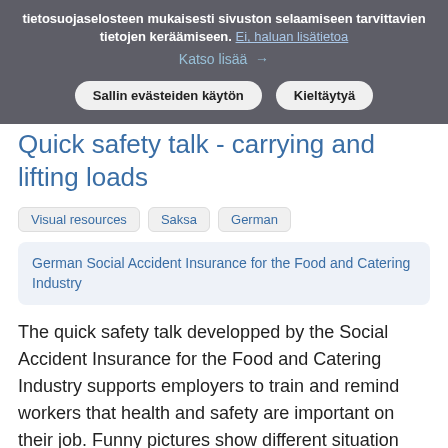tietosuojaselosteen mukaisesti sivuston selaamiseen tarvittavien tietojen keräämiseen. Ei, haluan lisätietoa
Katso lisää →
Sallin evästeiden käytön   Kieltäytyä
Quick safety talk - carrying and lifting loads
Visual resources   Saksa   German
German Social Accident Insurance for the Food and Catering Industry
The quick safety talk developped by the Social Accident Insurance for the Food and Catering Industry supports employers to train and remind workers that health and safety are important on their job. Funny pictures show different situation and solutions at workplaces and help workers to recognise and...